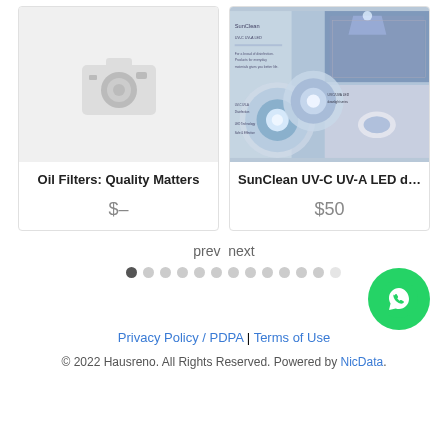[Figure (photo): Product card with placeholder camera icon image for Oil Filters: Quality Matters]
Oil Filters: Quality Matters
$–
[Figure (photo): Product card showing SunClean UV-C UV-A LED downlight product image with blue lighting]
SunClean UV-C UV-A LED downli
$50
prev  next
[Figure (other): Carousel pagination dots, first dot active (dark), rest light gray]
[Figure (logo): WhatsApp green circle button with phone icon]
Privacy Policy / PDPA | Terms of Use
© 2022 Hausreno. All Rights Reserved. Powered by NicData.